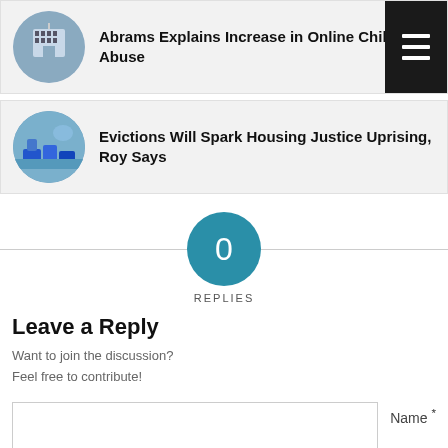[Figure (photo): News card with circular thumbnail of a building and bold headline: Abrams Explains Increase in Online Child Sex Abuse]
Abrams Explains Increase in Online Child Sex Abuse
[Figure (photo): News card with circular thumbnail of blue tents/protest scene and bold headline: Evictions Will Spark Housing Justice Uprising, Roy Says]
Evictions Will Spark Housing Justice Uprising, Roy Says
[Figure (other): Teal circle with 0 inside indicating zero replies]
REPLIES
Leave a Reply
Want to join the discussion?
Feel free to contribute!